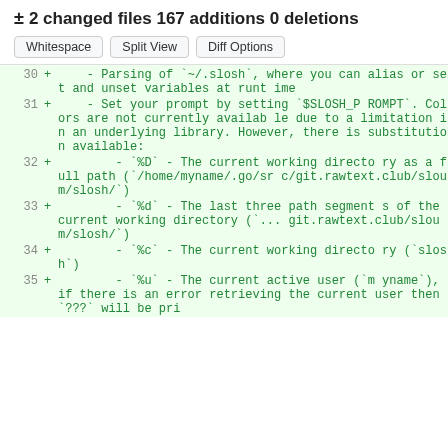± 2 changed files 167 additions 0 deletions
Whitespace  Split View  Diff Options
30 + - Parsing of `~/.slosh`, where you can alias or set and unset variables at runtime
31 + - Set your prompt by setting `$SLOSH_PROMPT`. Colors are not currently available due to a limitation in an underlying library. However, there is substitution available:
32 + - `%D` - The current working directory as a full path (`/home/myname/.go/src/git.rawtext.club/sloum/slosh/`)
33 + - `%d` - The last three path segments of the current working directory (`...git.rawtext.club/sloum/slosh/`)
34 + - `%c` - The current working directory (`slosh`)
35 + - `%u` - The current active user (`myname`), if there is an error retrieving the current user then `???` will be pri